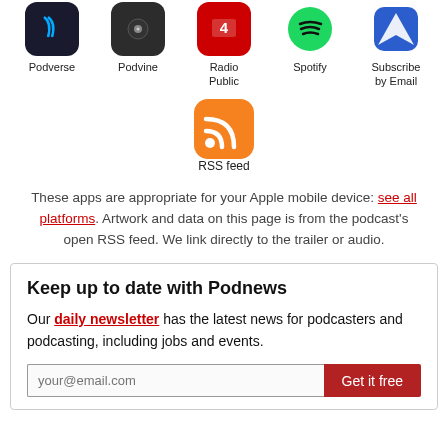[Figure (illustration): Row of podcast platform icons: Podverse (dark blue rounded square), Podvine (dark rounded square), Radio Public (red rounded square), Spotify (green circle), Subscribe by Email (blue rounded triangle/arrow icon) with labels below each]
[Figure (illustration): RSS feed icon: orange rounded square with white RSS symbol, labeled 'RSS feed']
These apps are appropriate for your Apple mobile device: see all platforms. Artwork and data on this page is from the podcast's open RSS feed. We link directly to the trailer or audio.
Keep up to date with Podnews
Our daily newsletter has the latest news for podcasters and podcasting, including jobs and events.